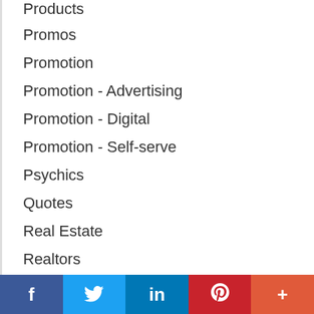Products
Promos
Promotion
Promotion - Advertising
Promotion - Digital
Promotion - Self-serve
Psychics
Quotes
Real Estate
Realtors
Remodeling
Removal Services
Rental Products
Rental Services
f  [Twitter bird]  in  P  +